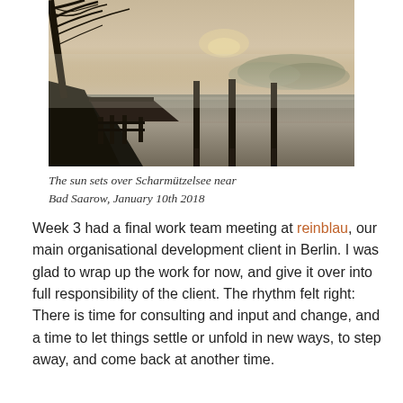[Figure (photo): A misty lake scene at dawn or dusk with a wooden dock/pier in the foreground and wooden posts in the calm reflective water; bare tree branches visible at top left.]
The sun sets over Scharmützelsee near Bad Saarow, January 10th 2018
Week 3 had a final work team meeting at reinblau, our main organisational development client in Berlin. I was glad to wrap up the work for now, and give it over into full responsibility of the client. The rhythm felt right: There is time for consulting and input and change, and a time to let things settle or unfold in new ways, to step away, and come back at another time.